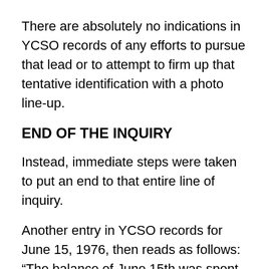There are absolutely no indications in YCSO records of any efforts to pursue that lead or to attempt to firm up that tentative identification with a photo line-up.
END OF THE INQUIRY
Instead, immediate steps were taken to put an end to that entire line of inquiry.
Another entry in YCSO records for June 15, 1976, then reads as follows: “The balance of June 15th was spent discussing the matter with Chief Deputy Duane Kingsbury, Ron Shutt, Bob Kuebler and various officers from the Phoenix PD. It was rumored there might be a connection between Shehadi and the Don Bolles bombing in Phoenix and it was agreed that we would hold up any further